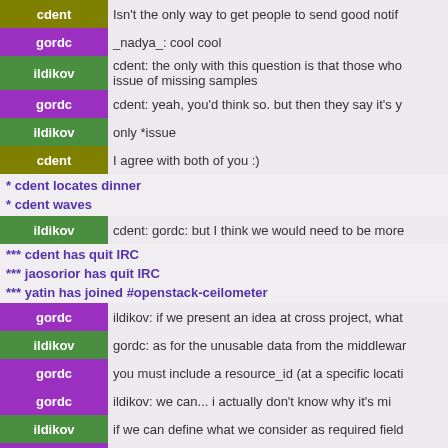cdent | Isn't the only way to get people to send good notif...
gordc | _nadya_: cool cool
ildikov | cdent: the only with this question is that those who... issue of missing samples
gordc | cdent: yeah, you'd think so. but then they say it's y...
ildikov | only *issue
cdent | I agree with both of you :)
* cdent locates dinner
* cdent waves
ildikov | cdent: gordc: but I think we would need to be more...
*** cdent has quit IRC
*** jaosorior has quit IRC
*** yatin has joined #openstack-ceilometer
gordc | ildikov: if we present an idea at cross project, what...
ildikov | gordc: as for the unusable data from the middlewar...
gordc | you must include a resource_id (at a specific locati...
gordc | ildikov: we can... i actually don't know why it's mi...
ildikov | if we can define what we consider as required field...
gordc | ildikov: i made this https://review.openstack.org/#/...
ildikov | gordc: so I think we should validate those things t...
gordc | cadf actually validates fields, i think we just let i...